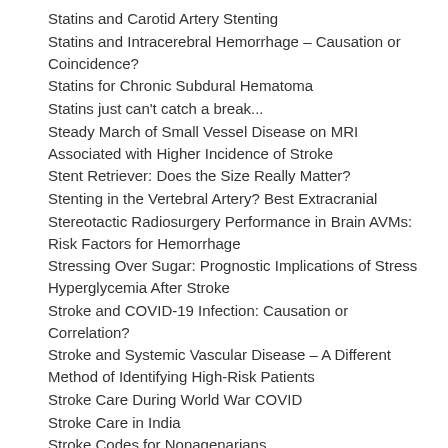Statins and Carotid Artery Stenting
Statins and Intracerebral Hemorrhage – Causation or Coincidence?
Statins for Chronic Subdural Hematoma
Statins just can't catch a break...
Steady March of Small Vessel Disease on MRI Associated with Higher Incidence of Stroke
Stent Retriever: Does the Size Really Matter?
Stenting in the Vertebral Artery? Best Extracranial
Stereotactic Radiosurgery Performance in Brain AVMs: Risk Factors for Hemorrhage
Stressing Over Sugar: Prognostic Implications of Stress Hyperglycemia After Stroke
Stroke and COVID-19 Infection: Causation or Correlation?
Stroke and Systemic Vascular Disease – A Different Method of Identifying High-Risk Patients
Stroke Care During World War COVID
Stroke Care in India
Stroke Codes for Nonagenarians
Stroke in the COVID-19 Era
Stroke Mechanism Suggested by Thrombus Permeability on CT Angiography
Stroke Plays Neither Fair, Nor Equal
Stroke Risk Factors in Young Black and White Patients